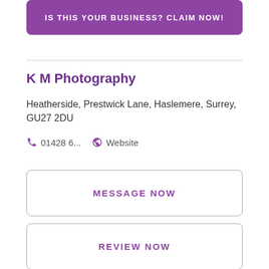IS THIS YOUR BUSINESS? CLAIM NOW!
K M Photography
Heatherside, Prestwick Lane, Haslemere, Surrey, GU27 2DU
01428 6...   Website
MESSAGE NOW
REVIEW NOW
IS THIS YOUR BUSINESS? CLAIM NOW!